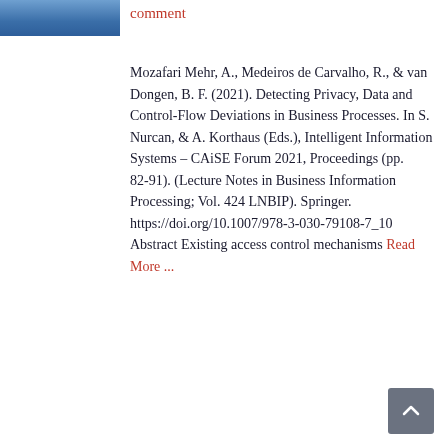[Figure (photo): Partial photo of a person in blue clothing, cropped at top of page]
comment
Mozafari Mehr, A., Medeiros de Carvalho, R., & van Dongen, B. F. (2021). Detecting Privacy, Data and Control-Flow Deviations in Business Processes. In S. Nurcan, & A. Korthaus (Eds.), Intelligent Information Systems – CAiSE Forum 2021, Proceedings (pp. 82-91). (Lecture Notes in Business Information Processing; Vol. 424 LNBIP). Springer. https://doi.org/10.1007/978-3-030-79108-7_10 Abstract Existing access control mechanisms Read More ...